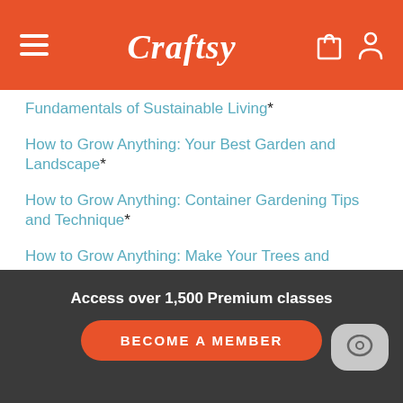Craftsy
Fundamentals of Sustainable Living*
How to Grow Anything: Your Best Garden and Landscape*
How to Grow Anything: Container Gardening Tips and Technique*
How to Grow Anything: Make Your Trees and Shrubs Thrive*
How to Grow Anything: Food Gardening for Everyone*
Mind and Body
Access over 1,500 Premium classes
BECOME A MEMBER